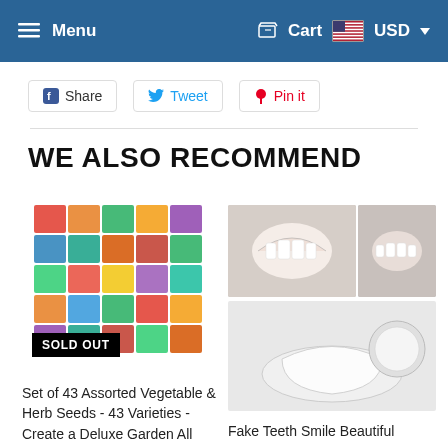Menu | Cart USD
Share
Tweet
Pin it
WE ALSO RECOMMEND
[Figure (photo): Seed packets arranged in a grid showing assorted vegetables and herbs, with 'SOLD OUT' badge overlay]
Set of 43 Assorted Vegetable & Herb Seeds - 43 Varieties - Create a Deluxe Garden All Sea...
[Figure (photo): Teeth/smile product showing dental veneers and smile photos, with 'SOLD OUT' badge overlay and dental tray below]
Fake Teeth Smile Beautiful